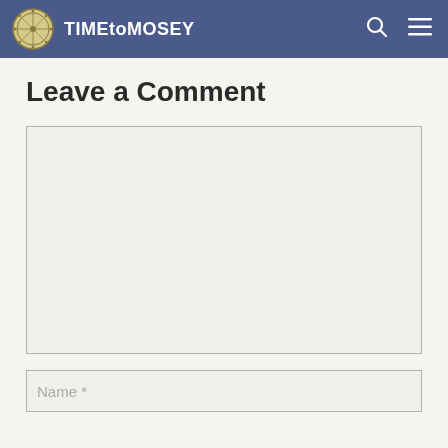TIMEtoMOSEY
Leave a Comment
[Figure (screenshot): Empty comment textarea input field with light gray background and thin border]
Name *